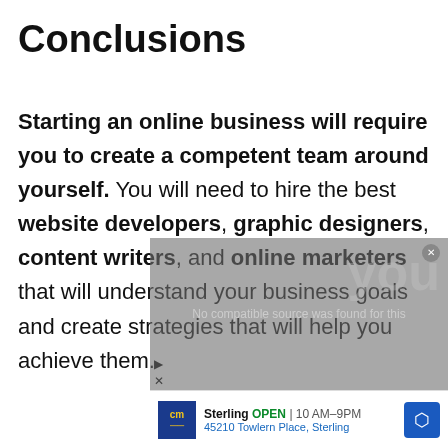Conclusions
Starting an online business will require you to create a competent team around yourself. You will need to hire the best website developers, graphic designers, content writers, and online marketers that will understand your business goals and create strategies that will help you achieve them.
[Figure (other): Embedded video/ad overlay showing 'No compatible source was found for this' message with background text, and a local business advertisement for Sterling CM store showing OPEN 10AM-9PM at 45210 Towlern Place, Sterling with navigation arrow icon.]